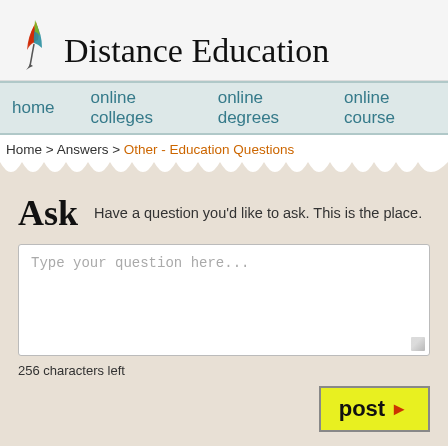[Figure (logo): Colorful feather/quill pen logo with orange, red, teal and green colors]
Distance Education
home   online colleges   online degrees   online courses
Home > Answers > Other - Education Questions
Ask
Have a question you'd like to ask. This is the place.
Type your question here...
256 characters left
post ▶